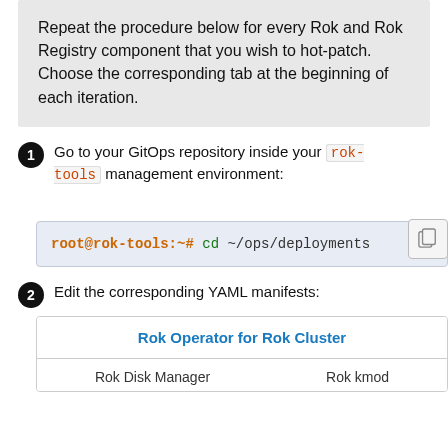Repeat the procedure below for every Rok and Rok Registry component that you wish to hot-patch. Choose the corresponding tab at the beginning of each iteration.
1. Go to your GitOps repository inside your rok-tools management environment:
[Figure (screenshot): Terminal code block showing: root@rok-tools:~# cd ~/ops/deployments]
2. Edit the corresponding YAML manifests:
[Figure (screenshot): Tab selector with active tab 'Rok Operator for Rok Cluster', and inactive tabs 'Rok Disk Manager' and 'Rok kmod']